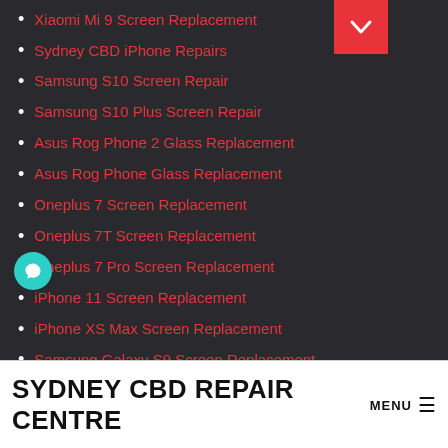Xiaomi Mi 9 Screen Replacement
Sydney CBD iPhone Repairs
Samsung S10 Screen Repair
Samsung S10 Plus Screen Repair
Asus Rog Phone 2 Glass Replacement
Asus Rog Phone Glass Replacement
Oneplus 7 Screen Replacement
Oneplus 7T Screen Replacement
Oneplus 7 Pro Screen Replacement
iPhone 11 Screen Replacement
iPhone XS Max Screen Replacement
Samsung Galaxy S9 Screen Replacement
Samsung Note 9 Screen Replacement
Samsung S20 Screen Replacement
SYDNEY CBD REPAIR CENTRE  MENU ≡